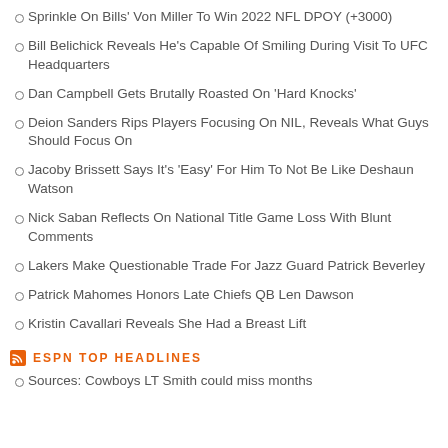Sprinkle On Bills' Von Miller To Win 2022 NFL DPOY (+3000)
Bill Belichick Reveals He's Capable Of Smiling During Visit To UFC Headquarters
Dan Campbell Gets Brutally Roasted On 'Hard Knocks'
Deion Sanders Rips Players Focusing On NIL, Reveals What Guys Should Focus On
Jacoby Brissett Says It's 'Easy' For Him To Not Be Like Deshaun Watson
Nick Saban Reflects On National Title Game Loss With Blunt Comments
Lakers Make Questionable Trade For Jazz Guard Patrick Beverley
Patrick Mahomes Honors Late Chiefs QB Len Dawson
Kristin Cavallari Reveals She Had a Breast Lift
ESPN TOP HEADLINES
Sources: Cowboys LT Smith could miss months